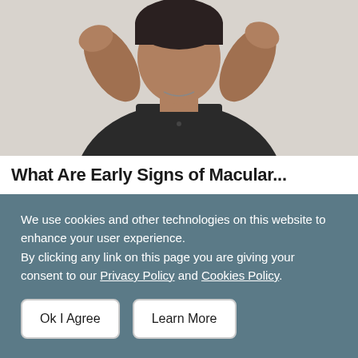[Figure (photo): A man in a dark shirt with his hands raised near his face/eyes, suggesting eye strain or vision problems, against a light grey background.]
What Are Early Signs of Macular...
Macular Degeneration | Search Ads
We use cookies and other technologies on this website to enhance your user experience.
By clicking any link on this page you are giving your consent to our Privacy Policy and Cookies Policy.
Ok I Agree
Learn More